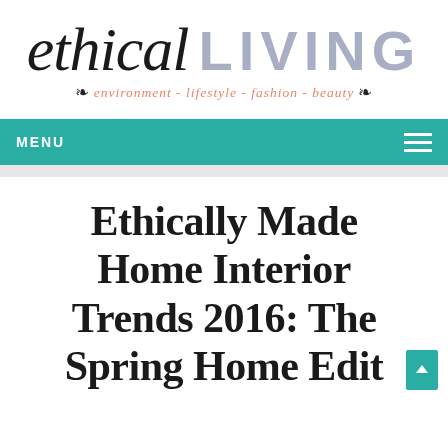[Figure (logo): Ethical Living logo: 'ethical' in black cursive script, 'LIVING' in large bold light blue-grey uppercase sans-serif]
environment - lifestyle - fashion - beauty
MENU
Ethically Made Home Interior Trends 2016: The Spring Home Edit